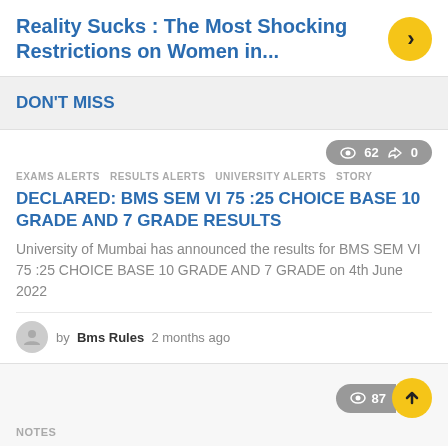Reality Sucks : The Most Shocking Restrictions on Women in...
DON'T MISS
62  0
EXAMS ALERTS  RESULTS ALERTS  UNIVERSITY ALERTS  STORY
DECLARED: BMS SEM VI 75 :25 CHOICE BASE 10 GRADE AND 7 GRADE RESULTS
University of Mumbai has announced the results for BMS SEM VI 75 :25 CHOICE BASE 10 GRADE AND 7 GRADE on 4th June 2022
by  Bms Rules  2 months ago
87
NOTES